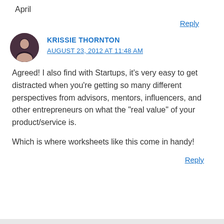April
Reply
KRISSIE THORNTON
AUGUST 23, 2012 AT 11:48 AM
Agreed! I also find with Startups, it’s very easy to get distracted when you’re getting so many different perspectives from advisors, mentors, influencers, and other entrepreneurs on what the “real value” of your product/service is.
Which is where worksheets like this come in handy!
Reply